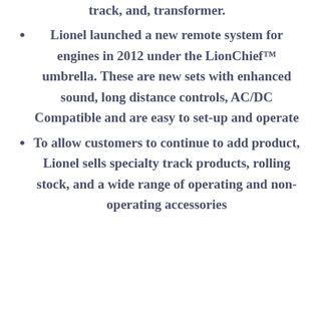track, and, transformer.
Lionel launched a new remote system for engines in 2012 under the LionChief™ umbrella. These are new sets with enhanced sound, long distance controls, AC/DC Compatible and are easy to set-up and operate
To allow customers to continue to add product, Lionel sells specialty track products, rolling stock, and a wide range of operating and non-operating accessories